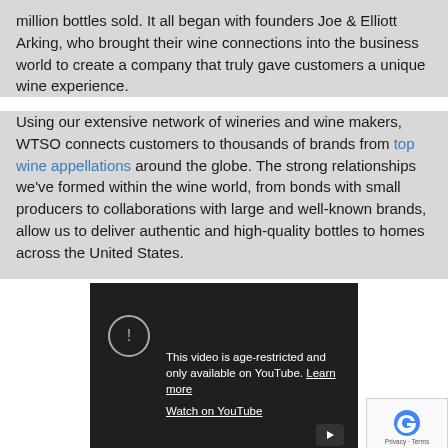million bottles sold. It all began with founders Joe & Elliott Arking, who brought their wine connections into the business world to create a company that truly gave customers a unique wine experience.
Using our extensive network of wineries and wine makers, WTSO connects customers to thousands of brands from top wine appellations around the globe. The strong relationships we've formed within the wine world, from bonds with small producers to collaborations with large and well-known brands, allow us to deliver authentic and high-quality bottles to homes across the United States.
[Figure (screenshot): An embedded YouTube video player showing an age-restriction message: 'This video is age-restricted and only available on YouTube. Learn more' with a 'Watch on YouTube' link, a warning icon circle on the left, and a play button in the bottom right corner. A reCAPTCHA badge is partially visible in the bottom-right corner.]